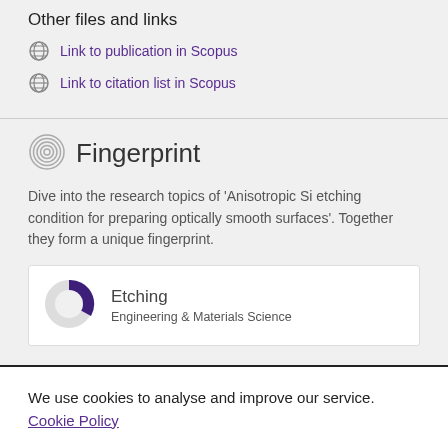Other files and links
Link to publication in Scopus
Link to citation list in Scopus
Fingerprint
Dive into the research topics of 'Anisotropic Si etching condition for preparing optically smooth surfaces'. Together they form a unique fingerprint.
Etching
Engineering & Materials Science
We use cookies to analyse and improve our service. Cookie Policy